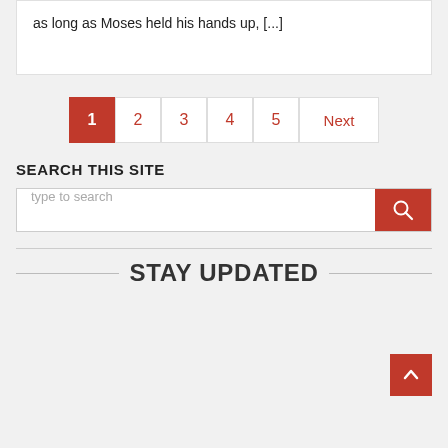as long as Moses held his hands up, [...]
1 2 3 4 5 Next
SEARCH THIS SITE
type to search
STAY UPDATED